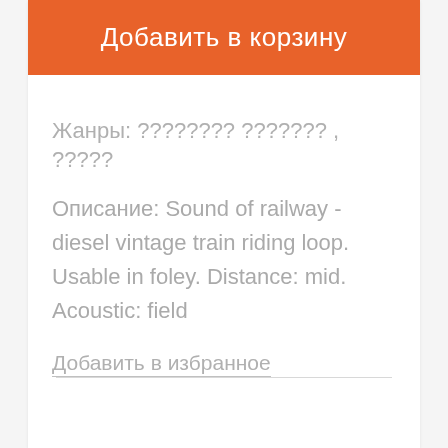Добавить в корзину
Жанры: ???????? ??????? , ?????
Описание: Sound of railway - diesel vintage train riding loop. Usable in foley. Distance: mid. Acoustic: field
Добавить в избранное